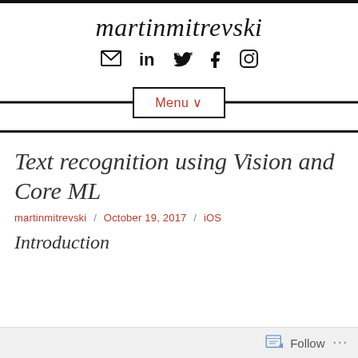martinmitrevski
[Figure (other): Social media icons: email/envelope, LinkedIn, Twitter, Facebook, Instagram]
[Figure (other): Menu button with horizontal lines on either side]
Text recognition using Vision and Core ML
martinmitrevski / October 19, 2017 / iOS
Introduction
Follow ...